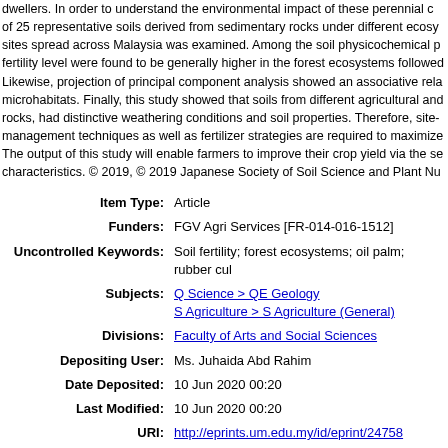dwellers. In order to understand the environmental impact of these perennial c of 25 representative soils derived from sedimentary rocks under different ecosy sites spread across Malaysia was examined. Among the soil physicochemical p fertility level were found to be generally higher in the forest ecosystems followed Likewise, projection of principal component analysis showed an associative rela microhabitats. Finally, this study showed that soils from different agricultural an rocks, had distinctive weathering conditions and soil properties. Therefore, site- management techniques as well as fertilizer strategies are required to maximize The output of this study will enable farmers to improve their crop yield via the se characteristics. © 2019, © 2019 Japanese Society of Soil Science and Plant Nu
| Label | Value |
| --- | --- |
| Item Type: | Article |
| Funders: | FGV Agri Services [FR-014-016-1512] |
| Uncontrolled Keywords: | Soil fertility; forest ecosystems; oil palm; rubber cul |
| Subjects: | Q Science > QE Geology
S Agriculture > S Agriculture (General) |
| Divisions: | Faculty of Arts and Social Sciences |
| Depositing User: | Ms. Juhaida Abd Rahim |
| Date Deposited: | 10 Jun 2020 00:20 |
| Last Modified: | 10 Jun 2020 00:20 |
| URI: | http://eprints.um.edu.my/id/eprint/24758 |
Actions (login required)
View Item